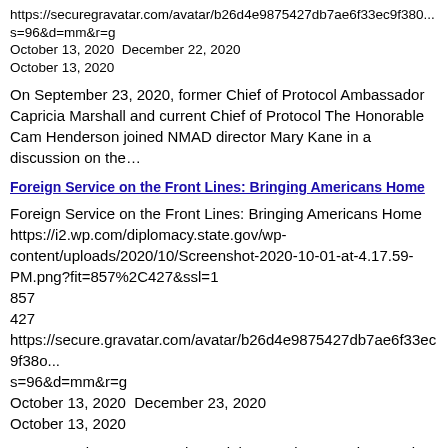https://securegravatar.com/avatar/b26d4e9875427db7ae6f33ec9f380...s=96&d=mm&r=g
October 13, 2020 December 22, 2020
October 13, 2020
On September 23, 2020, former Chief of Protocol Ambassador Capricia Marshall and current Chief of Protocol The Honorable Cam Henderson joined NMAD director Mary Kane in a discussion on the…
Foreign Service on the Front Lines: Bringing Americans Home
Foreign Service on the Front Lines: Bringing Americans Home
https://i2.wp.com/diplomacy.state.gov/wp-content/uploads/2020/10/Screenshot-2020-10-01-at-4.17.59-PM.png?fit=857%2C427&ssl=1
857
427
https://secure.gravatar.com/avatar/b26d4e9875427db7ae6f33ec9f380...s=96&d=mm&r=g
October 13, 2020 December 23, 2020
October 13, 2020
On September 22, NMAD hosted the American Foreign Service Association (AFSA) for a special Diplomacy Classroom. The session, "Foreign Service on the Front Lines: Bringing Ameri...